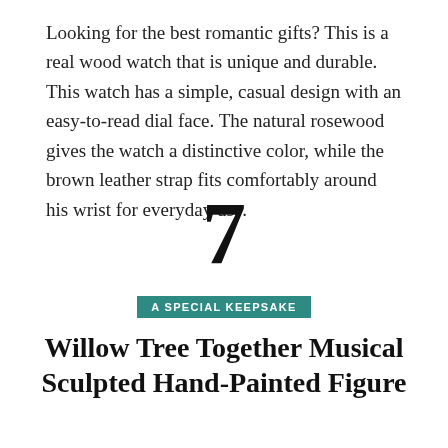Looking for the best romantic gifts? This is a real wood watch that is unique and durable. This watch has a simple, casual design with an easy-to-read dial face. The natural rosewood gives the watch a distinctive color, while the brown leather strap fits comfortably around his wrist for everyday use.
7
A SPECIAL KEEPSAKE
Willow Tree Together Musical Sculpted Hand-Painted Figure